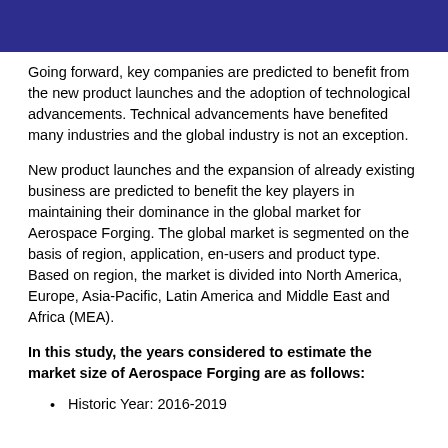Going forward, key companies are predicted to benefit from the new product launches and the adoption of technological advancements. Technical advancements have benefited many industries and the global industry is not an exception.
New product launches and the expansion of already existing business are predicted to benefit the key players in maintaining their dominance in the global market for Aerospace Forging. The global market is segmented on the basis of region, application, en-users and product type. Based on region, the market is divided into North America, Europe, Asia-Pacific, Latin America and Middle East and Africa (MEA).
In this study, the years considered to estimate the market size of Aerospace Forging are as follows:
Historic Year: 2016-2019